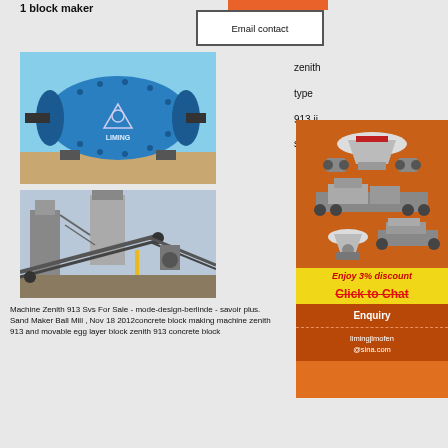1 block maker
Email contact
zenith
type
913 ii
sv
[Figure (photo): Blue Liming ball mill industrial grinding machine]
[Figure (photo): Industrial conveyor and crushing plant machinery]
[Figure (photo): Advertisement panel showing Zenith crushing and grinding machines with 3% discount offer]
Enjoy 3% discount
Click to Chat
Enquiry
limingjlmofen@sina.com
Machine Zenith 913 Svs For Sale - mode-design-berlinde - savoir plus. Sand Maker Ball Mill , Nov 18 2012concrete block making machine zenith 913 and movable egg layer block zenith 913 concrete block